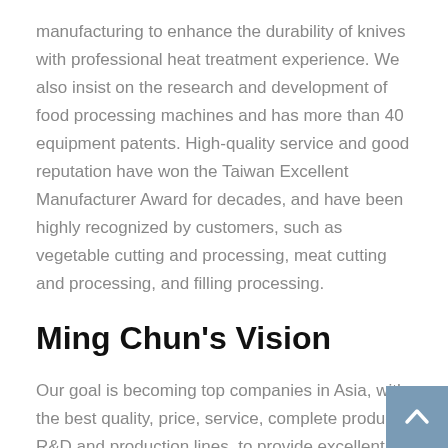manufacturing to enhance the durability of knives with professional heat treatment experience. We also insist on the research and development of food processing machines and has more than 40 equipment patents. High-quality service and good reputation have won the Taiwan Excellent Manufacturer Award for decades, and have been highly recognized by customers, such as vegetable cutting and processing, meat cutting and processing, and filling processing.
Ming Chun's Vision
Our goal is becoming top companies in Asia, with the best quality, price, service, complete products, R&D and production lines, to provide excellent service and professional perspective, giving customers the best products